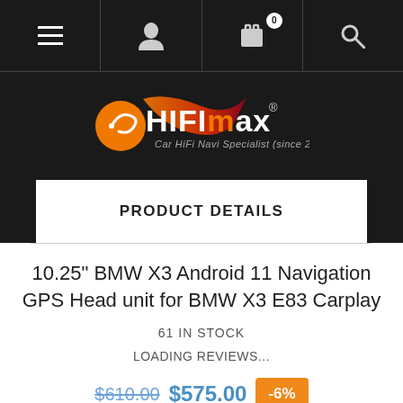[Figure (screenshot): Navigation bar with hamburger menu, user icon, shopping cart (0 items), and search icon on dark background]
[Figure (logo): HIFIMAX logo - Car HiFi Navi Specialist (since 2006) on dark background]
PRODUCT DETAILS
10.25" BMW X3 Android 11 Navigation GPS Head unit for BMW X3 E83 Carplay
61 IN STOCK
LOADING REVIEWS...
$610.00  $575.00  -6%